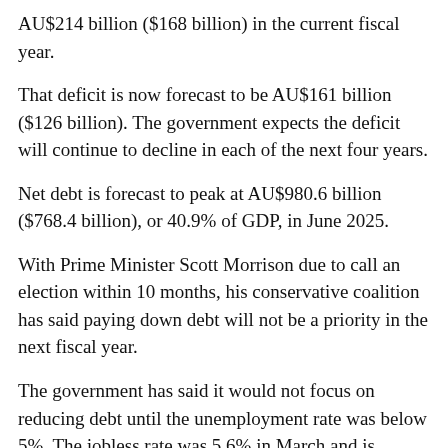AU$214 billion ($168 billion) in the current fiscal year.
That deficit is now forecast to be AU$161 billion ($126 billion). The government expects the deficit will continue to decline in each of the next four years.
Net debt is forecast to peak at AU$980.6 billion ($768.4 billion), or 40.9% of GDP, in June 2025.
With Prime Minister Scott Morrison due to call an election within 10 months, his conservative coalition has said paying down debt will not be a priority in the next fiscal year.
The government has said it would not focus on reducing debt until the unemployment rate was below 5%. The jobless rate was 5.6% in March and is forecast to fall to 5% for 2021-22 and to 4.75% in the following year.
Australia's economic growth would jump from 1.25% in the current fiscal year to 4.25% in 2021-22, according to